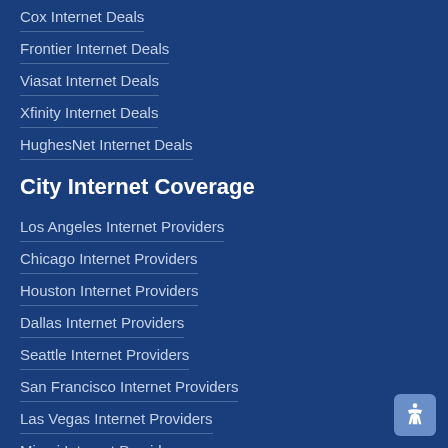Cox Internet Deals
Frontier Internet Deals
Viasat Internet Deals
Xfinity Internet Deals
HughesNet Internet Deals
City Internet Coverage
Los Angeles Internet Providers
Chicago Internet Providers
Houston Internet Providers
Dallas Internet Providers
Seattle Internet Providers
San Francisco Internet Providers
Las Vegas Internet Providers
Miami Internet Providers